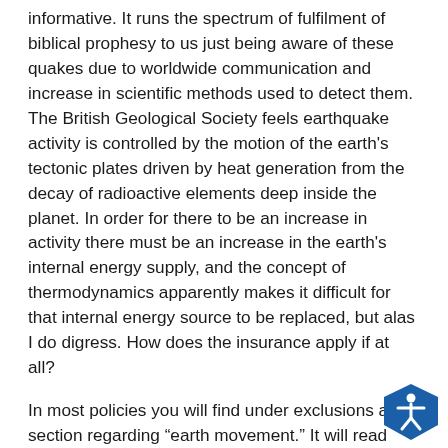informative. It runs the spectrum of fulfilment of biblical prophesy to us just being aware of these quakes due to worldwide communication and increase in scientific methods used to detect them. The British Geological Society feels earthquake activity is controlled by the motion of the earth's tectonic plates driven by heat generation from the decay of radioactive elements deep inside the planet. In order for there to be an increase in activity there must be an increase in the earth's internal energy supply, and the concept of thermodynamics apparently makes it difficult for that internal energy source to be replaced, but alas I do digress. How does the insurance apply if at all?
In most policies you will find under exclusions a section regarding “earth movement.” It will read somewhat like the following: Earth movement, including but not limited to earthquake, landslide, mine subsidence, mudflow, earth sinking, rising, or shifting. Direct loss by fire, explosion, theft, or breakage of glass, resulting from earth movement is covered if these perils apply to your covered proper…